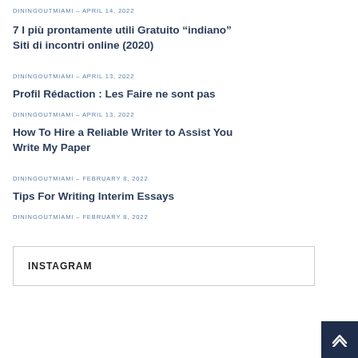DININGOUTMIAMI – APRIL 14, 2022
7 I più prontamente utili Gratuito “indiano” Siti di incontri online (2020)
DININGOUTMIAMI – APRIL 13, 2022
Profil Rédaction : Les Faire ne sont pas
DININGOUTMIAMI – APRIL 13, 2022
How To Hire a Reliable Writer to Assist You Write My Paper
DININGOUTMIAMI – FEBRUARY 8, 2022
Tips For Writing Interim Essays
DININGOUTMIAMI – FEBRUARY 8, 2022
INSTAGRAM